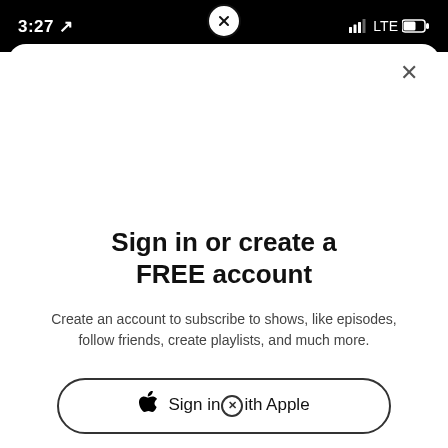3:27  LTE
[Figure (screenshot): Close/dismiss button overlay at top center of modal sheet — circle with X icon]
×
Sign in or create a FREE account
Create an account to subscribe to shows, like episodes, follow friends, create playlists, and much more.
Sign in with Apple